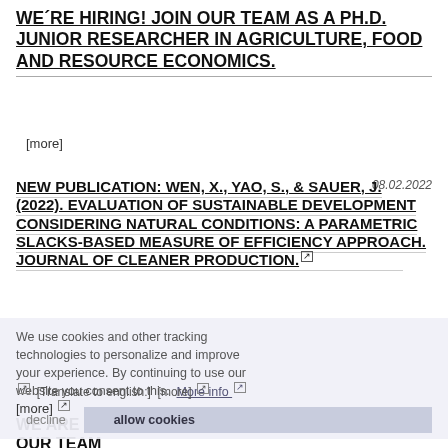WE´RE HIRING! JOIN OUR TEAM AS A PH.D. JUNIOR RESEARCHER IN AGRICULTURE, FOOD AND RESOURCE ECONOMICS.
[more]
NEW PUBLICATION: WEN, X., YAO, S., & SAUER, J. (2022). EVALUATION OF SUSTAINABLE DEVELOPMENT CONSIDERING NATURAL CONDITIONS: A PARAMETRIC SLACKS-BASED MEASURE OF EFFICIENCY APPROACH. JOURNAL OF CLEANER PRODUCTION.
We use cookies and other tracking technologies to personalize and improve your experience. By continuing to use our website you consent to this. More info
[Translate to english:]  [more]
[more]
WE ARE PLEASE TO WELCOME JIAJUN ZHOU IN OUR TEAM